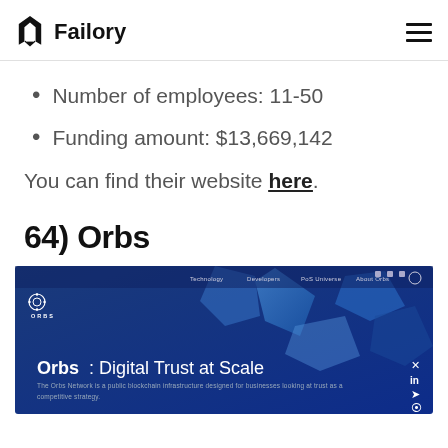Failory
Number of employees: 11-50
Funding amount: $13,669,142
You can find their website here.
64) Orbs
[Figure (screenshot): Screenshot of the Orbs website homepage showing 'Orbs: Digital Trust at Scale' with a blue background and geometric shapes. The Orbs logo appears top left with navigation items (Technology, Developers, PoS Universe, About Orbs) and a tagline describing The Orbs Network as a public blockchain infrastructure designed for businesses looking at trust as a competitive strategy.]